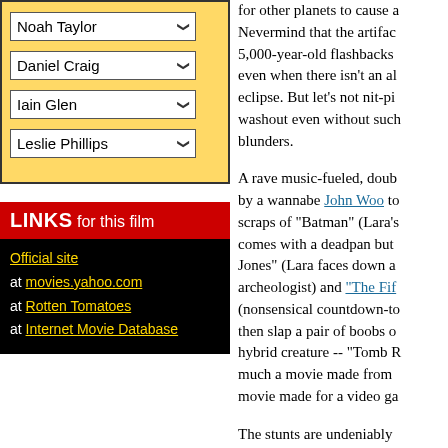Noah Taylor
Daniel Craig
Iain Glen
Leslie Phillips
LINKS for this film
Official site
at movies.yahoo.com
at Rotten Tomatoes
at Internet Movie Database
for other planets to cause a... Nevermind that the artifact... 5,000-year-old flashbacks... even when there isn't an al... eclipse. But let's not nit-pi... washout even without such blunders.
A rave music-fueled, doub... by a wannabe John Woo to... scraps of "Batman" (Lara's... comes with a deadpan but... Jones" (Lara faces down a... archeologist) and "The Fif... (nonsensical countdown-to... then slap a pair of boobs o... hybrid creature -- "Tomb R... much a movie made from... movie made for a video ga...
The stunts are undeniably... the only real point of the p... sequence, a bungee-bound... off the walls while fighting... heavily armed intruders wi...